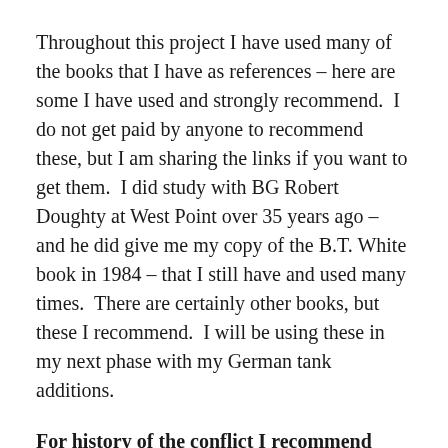Throughout this project I have used many of the books that I have as references – here are some I have used and strongly recommend.  I do not get paid by anyone to recommend these, but I am sharing the links if you want to get them.  I did study with BG Robert Doughty at West Point over 35 years ago – and he did give me my copy of the B.T. White book in 1984 – that I still have and used many times.  There are certainly other books, but these I recommend.  I will be using these in my next phase with my German tank additions.
For history of the conflict I recommend buying: